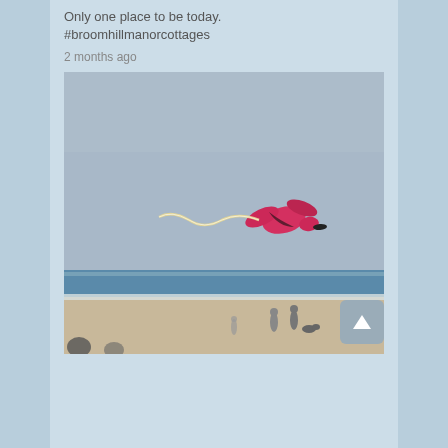Only one place to be today. #broomhillmanorcottages
2 months ago
[Figure (photo): A bird-shaped pink kite with a long white ribbon tail flying above a beach. Below are the sea, sandy shore, and several people walking near the water's edge. The sky is a muted blue-grey.]